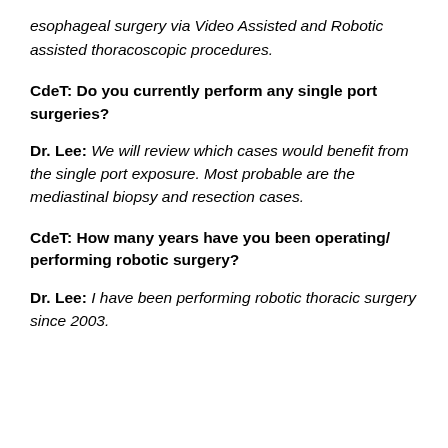esophageal surgery via Video Assisted and Robotic assisted thoracoscopic procedures.
CdeT: Do you currently perform any single port surgeries?
Dr. Lee: We will review which cases would benefit from the single port exposure. Most probable are the mediastinal biopsy and resection cases.
CdeT: How many years have you been operating/ performing robotic surgery?
Dr. Lee: I have been performing robotic thoracic surgery since 2003.